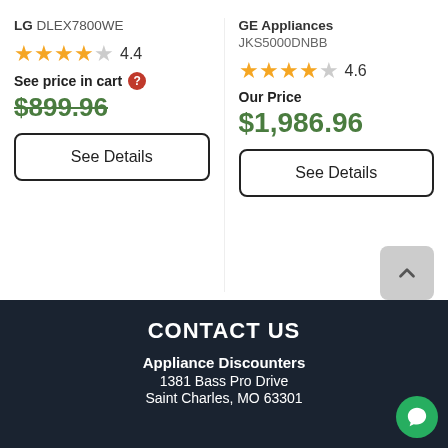LG DLEX7800WE
★★★★☆ 4.4
See price in cart ❓
$899.96
See Details
GE Appliances JKS5000DNBB
★★★★☆ 4.6
Our Price
$1,986.96
See Details
CONTACT US
Appliance Discounters
1381 Bass Pro Drive
Saint Charles, MO 63301